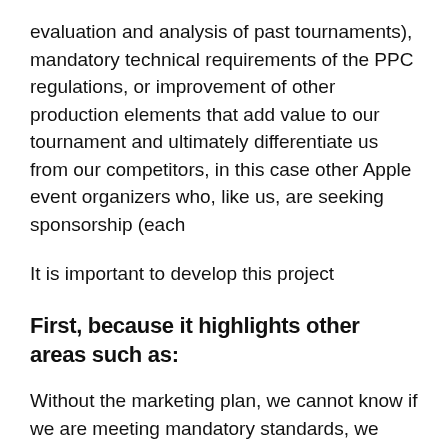evaluation and analysis of past tournaments), mandatory technical requirements of the PPC regulations, or improvement of other production elements that add value to our tournament and ultimately differentiate us from our competitors, in this case other Apple event organizers who, like us, are seeking sponsorship (each
It is important to develop this project
First, because it highlights other areas such as:
Without the marketing plan, we cannot know if we are meeting mandatory standards, we cannot innovate or look for improvements or new locations, we cannot set